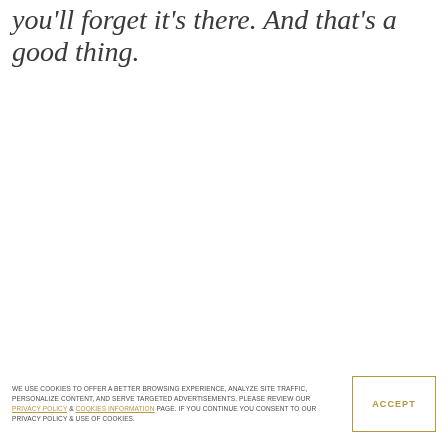you'll forget it's there. And that's a good thing.
WE USE COOKIES TO OFFER A BETTER BROWSING EXPERIENCE, ANALYZE SITE TRAFFIC, PERSONALIZE CONTENT, AND SERVE TARGETED ADVERTISEMENTS. PLEASE REVIEW OUR PRIVACY POLICY & COOKIES INFORMATION PAGE. IF YOU CONTINUE YOU CONSENT TO OUR PRIVACY POLICY & USE OF COOKIES.
ACCEPT